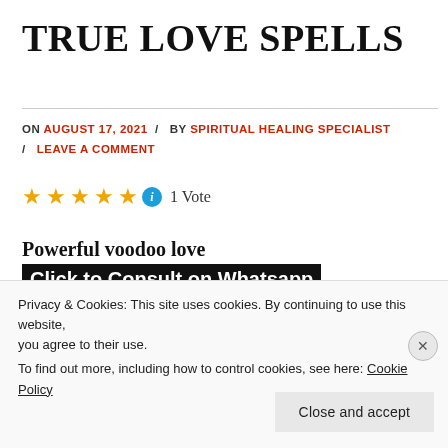TRUE LOVE SPELLS
ON AUGUST 17, 2021 / BY SPIRITUAL HEALING SPECIALIST / LEAVE A COMMENT
★★★★★ 1 Vote
Powerful voodoo love spells for serious emotional return, how does it work?
Love is a word that speaks to everyone. There are those
Privacy & Cookies: This site uses cookies. By continuing to use this website, you agree to their use. To find out more, including how to control cookies, see here: Cookie Policy
Close and accept